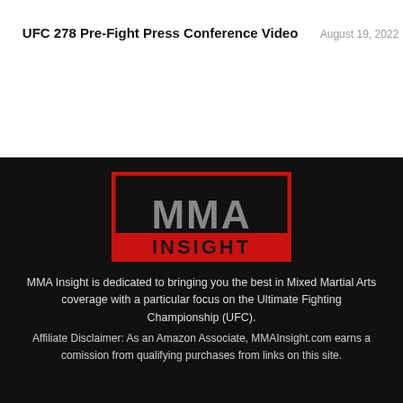UFC 278 Pre-Fight Press Conference Video
August 19, 2022
[Figure (logo): MMA Insight logo: large grey block letters 'MMA' above red block letters 'INSIGHT', surrounded by a red rectangular border on a black background]
MMA Insight is dedicated to bringing you the best in Mixed Martial Arts coverage with a particular focus on the Ultimate Fighting Championship (UFC).
Affiliate Disclaimer: As an Amazon Associate, MMAInsight.com earns a comission from qualifying purchases from links on this site.